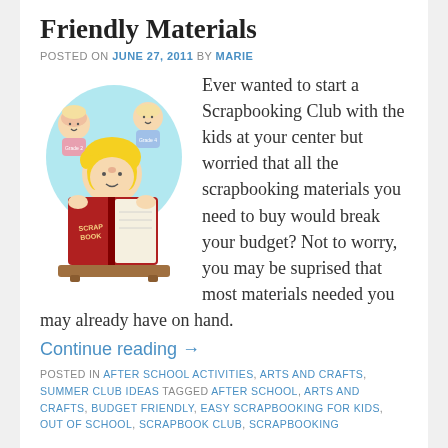Friendly Materials
POSTED ON JUNE 27, 2011 BY MARIE
[Figure (illustration): Cartoon illustration of children reading a scrapbook. A large child with blonde hair holds an open red scrapbook labeled 'SCRAP BOOK', with two smaller children visible above/behind, against a light blue cloud background. The book rests on a brown surface.]
Ever wanted to start a Scrapbooking Club with the kids at your center but worried that all the scrapbooking materials you need to buy would break your budget? Not to worry, you may be suprised that most materials needed you may already have on hand.
Continue reading →
POSTED IN AFTER SCHOOL ACTIVITIES, ARTS AND CRAFTS, SUMMER CLUB IDEAS TAGGED AFTER SCHOOL, ARTS AND CRAFTS, BUDGET FRIENDLY, EASY SCRAPBOOKING FOR KIDS, OUT OF SCHOOL, SCRAPBOOK CLUB, SCRAPBOOKING